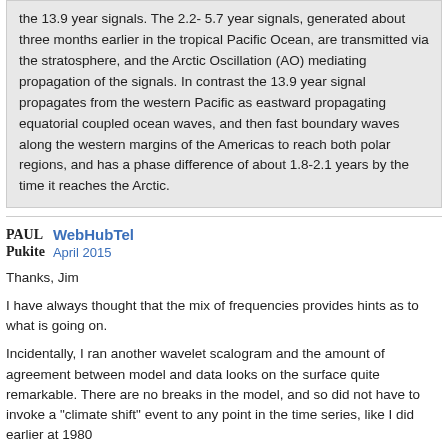the 13.9 year signals. The 2.2- 5.7 year signals, generated about three months earlier in the tropical Pacific Ocean, are transmitted via the stratosphere, and the Arctic Oscillation (AO) mediating propagation of the signals. In contrast the 13.9 year signal propagates from the western Pacific as eastward propagating equatorial coupled ocean waves, and then fast boundary waves along the western margins of the Americas to reach both polar regions, and has a phase difference of about 1.8-2.1 years by the time it reaches the Arctic.
PAUL Pukite
WebHubTel
April 2015
Thanks, Jim
I have always thought that the mix of frequencies provides hints as to what is going on.
Incidentally, I ran another wavelet scalogram and the amount of agreement between model and data looks on the surface quite remarkable. There are no breaks in the model, and so did not have to invoke a "climate shift" event to any point in the time series, like I did earlier at 1980
{NINO34 Data}
[Figure (other): Partial chart showing axes with y-axis labels 1, 2, 3 on both left and right sides, appears to be bottom of a time series chart]